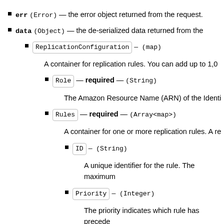err (Error) — the error object returned from the request.
data (Object) — the de-serialized data returned from the
ReplicationConfiguration — (map)
A container for replication rules. You can add up to 1,0
Role — required — (String)
The Amazon Resource Name (ARN) of the Identi
Rules — required — (Array<map>)
A container for one or more replication rules. A re
ID — (String)
A unique identifier for the rule. The maximum
Priority — (Integer)
The priority indicates which rule has precede